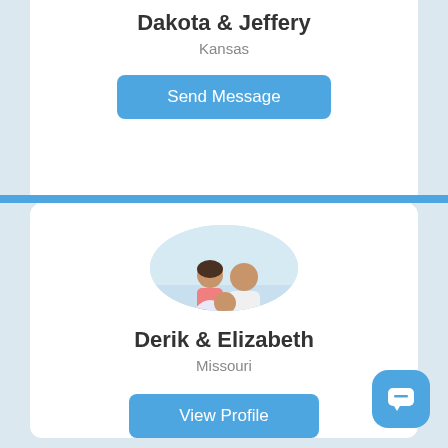Dakota & Jeffery
Kansas
Send Message
[Figure (photo): Circular profile photo of a family (man, woman, and child) standing on a beach]
Derik & Elizabeth
Missouri
View Profile